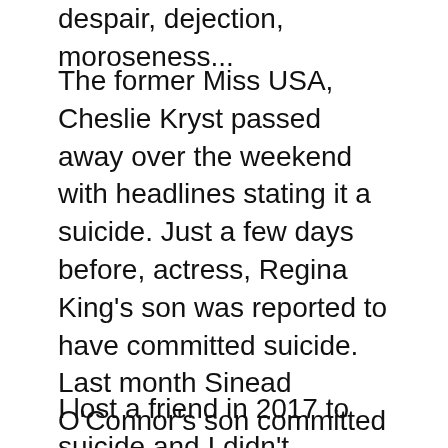despair, dejection, moroseness...
The former Miss USA, Cheslie Kryst passed away over the weekend with headlines stating it a suicide. Just a few days before, actress, Regina King's son was reported to have committed suicide. Last month Sinead O'Connor's son committed suicide. There are a lot of should have, could have, would have comments from people but think to yourself, would you recognize the signs of depression in any of your loved ones? If you struggle with depression, do any of your loved ones know or would they recognize the signs?
I lost a friend in 2017 to suicide and I didn't recognize what was going on with him because I was wrapped up in my own battles. Now he is gone. Each time I think of throwing in the towel I